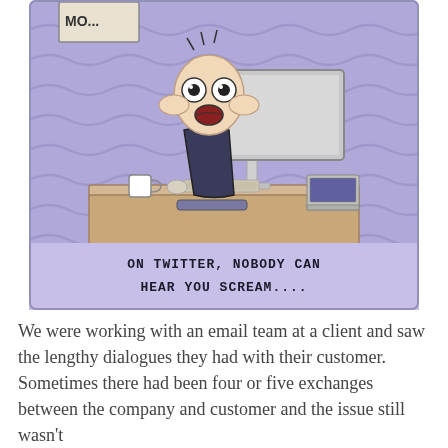[Figure (illustration): A cartoon illustration showing a bald person with wide eyes and open mouth in shock/screaming, sitting at a desk with a computer monitor, keyboard, and coffee mug. The background is purple with wavy lines suggesting distress. Text at the bottom of the cartoon reads 'ON TWITTER, NOBODY CAN HEAR YOU SCREAM....']
We were working with an email team at a client and saw the lengthy dialogues they had with their customer. Sometimes there had been four or five exchanges between the company and customer and the issue still wasn't